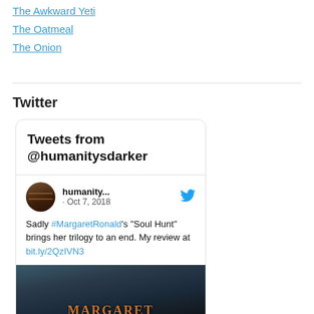The Awkward Yeti
The Oatmeal
The Onion
Twitter
[Figure (screenshot): Twitter widget showing tweets from @humanitysdarker. Contains a tweet by 'humanity...' dated Oct 7, 2018 reading: 'Sadly #MargaretRonald's "Soul Hunt" brings her trilogy to an end. My review at bit.ly/2QzIVN3'. Below is an image showing the word MARGARET.]